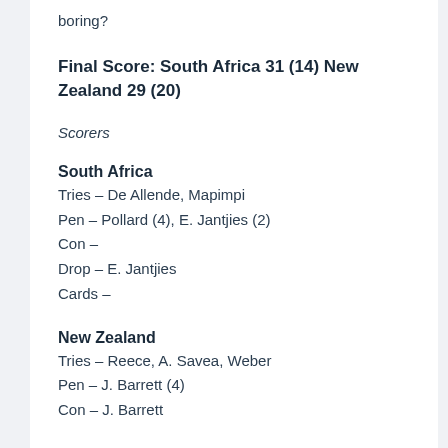boring?
Final Score: South Africa 31 (14) New Zealand 29 (20)
Scorers
South Africa
Tries – De Allende, Mapimpi
Pen – Pollard (4), E. Jantjies (2)
Con –
Drop – E. Jantjies
Cards –
New Zealand
Tries – Reece, A. Savea, Weber
Pen – J. Barrett (4)
Con – J. Barrett